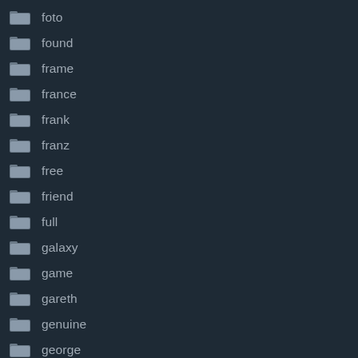foto
found
frame
france
frank
franz
free
friend
full
galaxy
game
gareth
genuine
george
gerard
germany
gets
getting